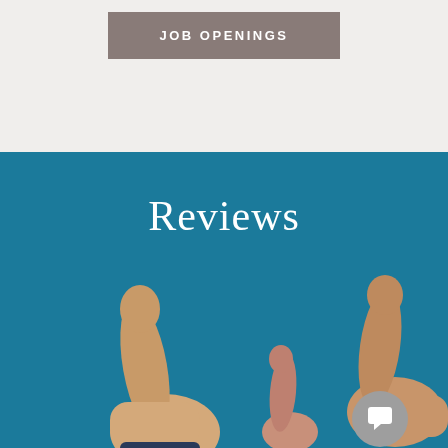JOB OPENINGS
Reviews
[Figure (photo): Two hands giving thumbs up against a teal/blue background, with a chat bubble icon overlay in the bottom right corner]